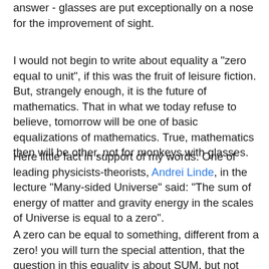answer - glasses are put exceptionally on a nose for the improvement of sight.
I would not begin to write about equality a "zero equal to unit", if this was the fruit of leisure fiction. But, strangely enough, it is the future of mathematics. That in what we today refuse to believe, tomorrow will be one of basic equalizations of mathematics. True, mathematics then will be other, not for monkeys with glasses.
Here little fact in support of my words. One of leading physicists-theorists, Andrei Linde, in the lecture "Many-sided Universe" said: "The sum of energy of matter and gravity energy in the scales of Universe is equal to a zero".
A zero can be equal to something, different from a zero! you will turn the special attention, that the question in this equality is about SUM, but not difference of two physical sizes. If physicists subtracted from one physical size other is be much simpler. As early as school we taught that if from something to subtract such is exact something, then as a result we will get a zero. But, physicists assure that we need